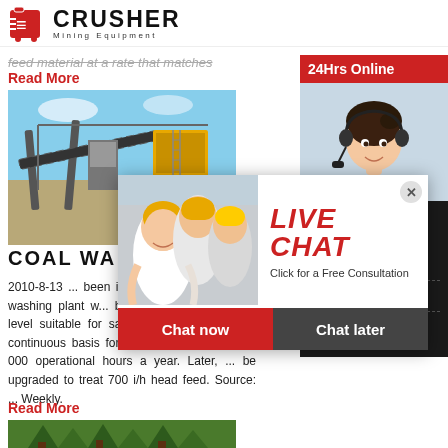[Figure (logo): Crusher Mining Equipment logo with red shopping bag icon and bold CRUSHER text]
feed material at a rate that matches
Read More
[Figure (photo): Mining conveyor belt equipment at an open mine site]
COAL WA...
2010-8-13 ... been initialed. The 300-t/h coal washing plant w... beneficiate raw coal to a level suitable for sale t... will operate on a continuous basis for six workin... week, or 6 000 operational hours a year. Later, ... be upgraded to treat 700 i/h head feed. Source: ... Weekly.
Read More
[Figure (photo): Forest logging or mining scene with trees]
[Figure (photo): Live Chat popup overlay with workers in hard hats, LIVE CHAT heading, Chat now and Chat later buttons]
[Figure (photo): Customer service agent with headset - 24Hrs Online sidebar]
Need questions & suggestion?
Chat Now
Enquiry
limingjlmofen@sina.com